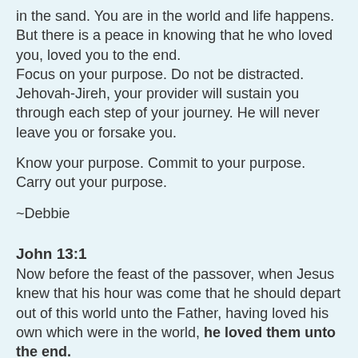in the sand. You are in the world and life happens. But there is a peace in knowing that he who loved you, loved you to the end.
Focus on your purpose. Do not be distracted.
Jehovah-Jireh, your provider will sustain you through each step of your journey. He will never leave you or forsake you.
Know your purpose. Commit to your purpose. Carry out your purpose.
~Debbie
John 13:1
Now before the feast of the passover, when Jesus knew that his hour was come that he should depart out of this world unto the Father, having loved his own which were in the world, he loved them unto the end.
Romans 8:28
And we know that all things work together for good to them that love God, to them who are the called according to his